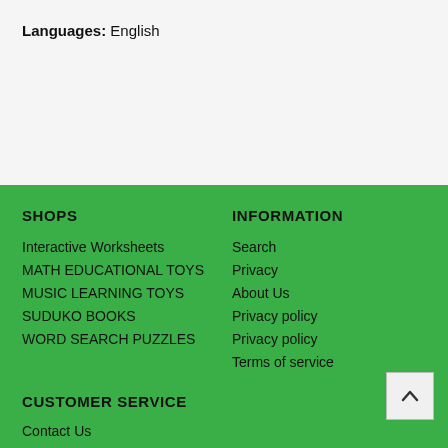Languages: English
SHOPS
Interactive Worksheets
MATH EDUCATIONAL TOYS
MUSIC LEARNING TOYS
SUDUKO BOOKS
WORD SEARCH PUZZLES
INFORMATION
Search
Privacy
About Us
Privacy policy
Privacy policy
Terms of service
CUSTOMER SERVICE
Contact Us
STAY CONNECTED
LIKE US on FACEBOOK